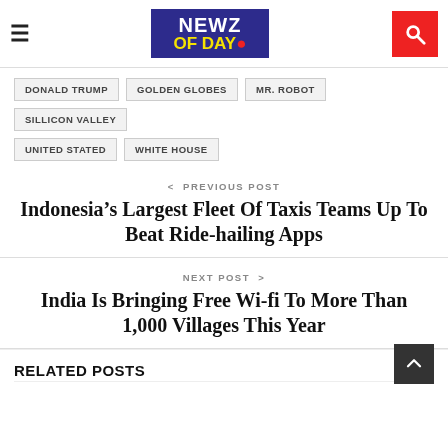NEWZ OF DAY
DONALD TRUMP
GOLDEN GLOBES
MR. ROBOT
SILLICON VALLEY
UNITED STATED
WHITE HOUSE
< PREVIOUS POST
Indonesia’s Largest Fleet Of Taxis Teams Up To Beat Ride-hailing Apps
NEXT POST >
India Is Bringing Free Wi-fi To More Than 1,000 Villages This Year
RELATED POSTS